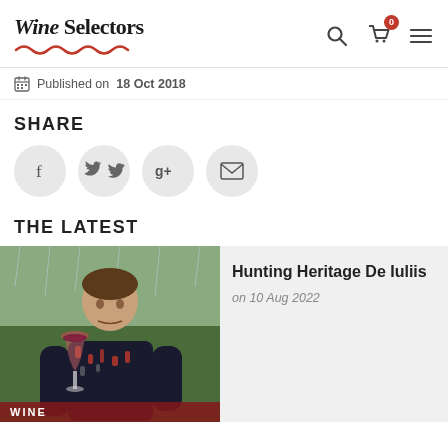Wine Selectors
Published on 18 Oct 2018
SHARE
[Figure (infographic): Social share buttons: Facebook, Twitter, Google+, Email]
THE LATEST
[Figure (photo): Man holding a wine glass up to his face at a winery, wearing a dark patterned shirt. A WINE badge appears at the bottom.]
Hunting Heritage De Iuliis
on 10 Aug 2022